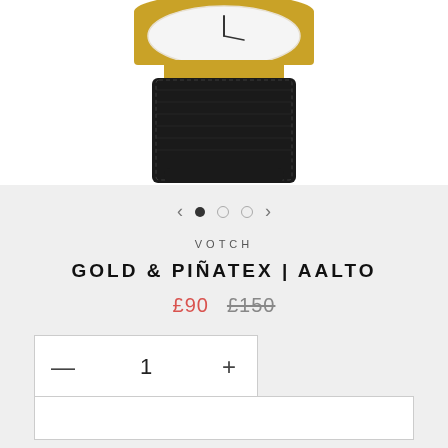[Figure (photo): Close-up photo of a watch with a gold case and black strap against a white background, showing the bottom portion of the watch face and the strap.]
< • ○ ○ >
VOTCH
GOLD & PIÑATEX | AALTO
£90  £150
— 1 +